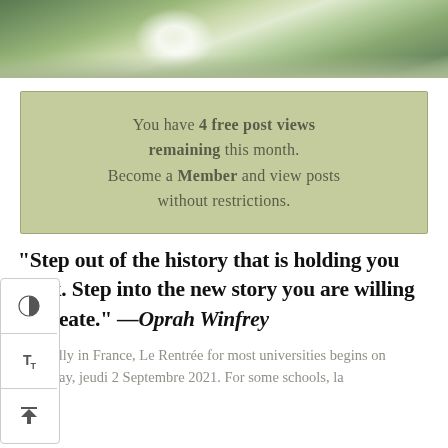[Figure (photo): Outdoor nature photo showing water, rocks, and greenery with bright light reflection]
You have 4 free post views remaining this month. Become a Member and view posts without restrictions.
“Step out of the history that is holding you back. Step into the new story you are willing to create.” —Oprah Winfrey
Officially in France, Le Rentrée for most universities begins on Thursday, jeudi 2 Septembre 2021. For some schools, la